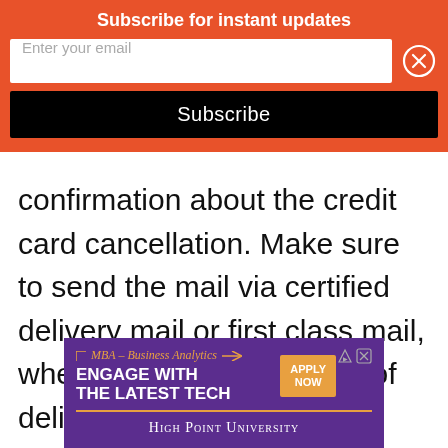Subscribe for instant updates
Enter your email
Subscribe
confirmation about the credit card cancellation. Make sure to send the mail via certified delivery mail or first class mail, where you can track proof of delivery.
[Figure (infographic): MBA – Business Analytics advertisement banner for High Point University with 'Engage with the Latest Tech' text and an 'Apply Now' button on a purple background.]